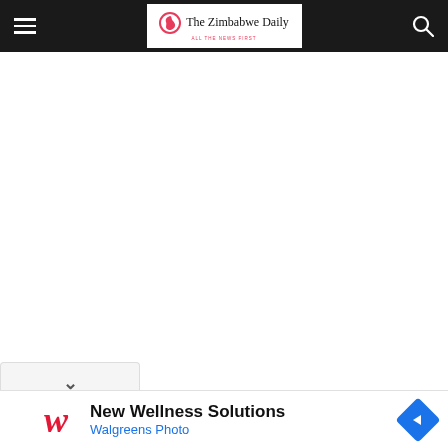The Zimbabwe Daily — ALL THE NEWS FIRST
[Figure (screenshot): White empty content area below navigation bar]
[Figure (screenshot): Collapse/dropdown chevron tab at bottom of content area]
[Figure (advertisement): Walgreens ad: New Wellness Solutions / Walgreens Photo with red cursive W logo and blue diamond arrow icon]